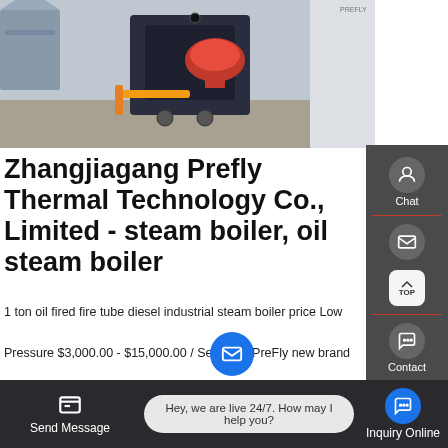[Figure (photo): Industrial steam boiler machine with red burner head, yellow piping, on factory floor]
Zhangjiagang Prefly Thermal Technology Co., Limited - steam boiler, oil steam boiler
1 ton oil fired fire tube diesel industrial steam boiler price Low Pressure $3,000.00 - $15,000.00 / Set 1 Set PreFly new brand Horizontal price fire tube gas fired 1 ton steam boiler Low Pressure Gas Fired Boilers $16,500.00 / Set 1 Set (Min. Order) International
Hey, we are live 24/7. How may I help you?
Send Message
Inquiry Online